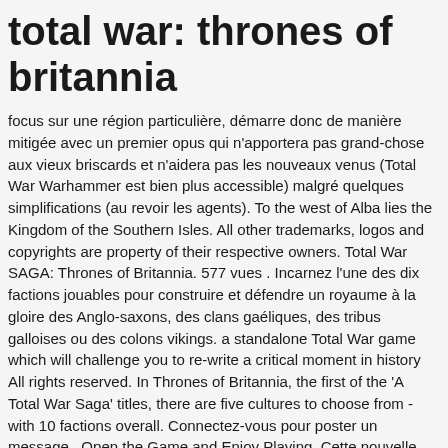total war: thrones of britannia
focus sur une région particulière, démarre donc de manière mitigée avec un premier opus qui n'apportera pas grand-chose aux vieux briscards et n'aidera pas les nouveaux venus (Total War Warhammer est bien plus accessible) malgré quelques simplifications (au revoir les agents). To the west of Alba lies the Kingdom of the Southern Isles. All other trademarks, logos and copyrights are property of their respective owners. Total War SAGA: Thrones of Britannia. 577 vues . Incarnez l'une des dix factions jouables pour construire et défendre un royaume à la gloire des Anglo-saxons, des clans gaéliques, des tribus galloises ou des colons vikings. a standalone Total War game which will challenge you to re-write a critical moment in history All rights reserved. In Thrones of Britannia, the first of the 'A Total War Saga' titles, there are five cultures to choose from - with 10 factions overall. Connectez-vous pour poster un message . Open the Game and Enjoy Playing. Cette nouvelle branche des Total War, la « Saga » qui met le focus sur une région particulière, démarre donc de manière mitigée avec un premier opus qui n'apportera pas grand-chose aux vieux briscards et n'aidera pas les